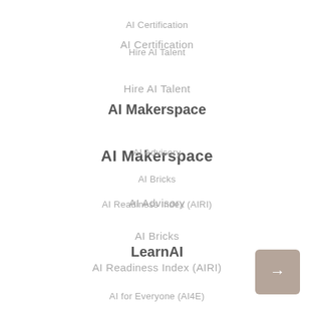AI Certification
Hire AI Talent
AI Makerspace
AI Advisory
AI Bricks
AI Readiness Index (AIRI)
LearnAI
AI for Everyone (AI4E)